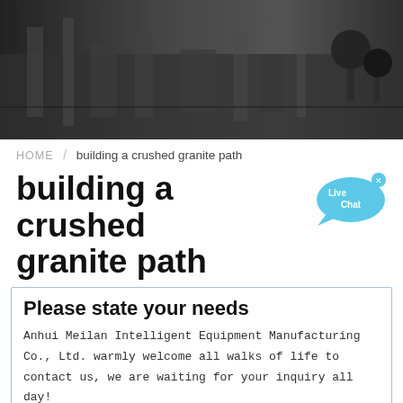[Figure (photo): Industrial factory or workshop interior with machinery, equipment and people, dark/blurred background photo used as hero banner.]
HOME / building a crushed granite path
building a crushed granite path
[Figure (illustration): Live Chat bubble icon in light blue with 'Live Chat' text and a small 'x' close button in upper right corner.]
Please state your needs
Anhui Meilan Intelligent Equipment Manufacturing Co., Ltd. warmly welcome all walks of life to contact us, we are waiting for your inquiry all day!
Name:* Such as: petter